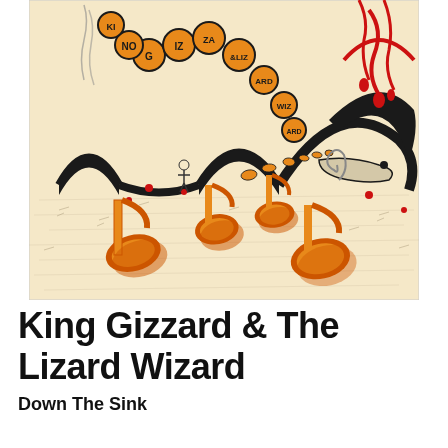[Figure (illustration): Album artwork for King Gizzard & The Lizard Wizard. A psychedelic illustrated scene on a cream/beige background showing large orange 3D musical note symbols scattered across the foreground. In the background, a large serpentine black creature arches across the scene. Red liquid drips from the top right. Bubbles or circles in orange and black containing letters (spelling out 'King Gizzard & The Lizard Wizard') float in the upper left. Small figures and creatures are scattered throughout.]
King Gizzard & The Lizard Wizard
Down The Sink